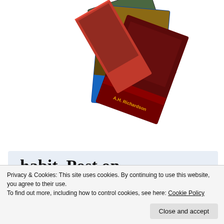[Figure (photo): Stack of book covers fanned out, showing fantasy/sci-fi covers by A.H. Richardson, photographed at an angle on white background.]
habit. Post on the go.
GET THE APP
[Figure (logo): WordPress blue circle logo icon with W letter]
Privacy & Cookies: This site uses cookies. By continuing to use this website, you agree to their use.
To find out more, including how to control cookies, see here: Cookie Policy
Close and accept